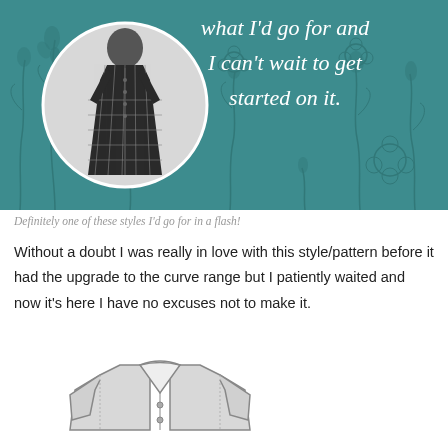[Figure (illustration): Teal background with hand-drawn floral/botanical line art and a circular inset photo of a woman wearing a dark plaid button-front dress. White handwritten-style script text reads: 'what I'd go for and I can't wait to get started on it.']
Definitely one of these styles I'd go for in a flash!
Without a doubt I was really in love with this style/pattern before it had the upgrade to the curve range but I patiently waited and now it's here I have no excuses not to make it.
[Figure (illustration): Technical fashion flat sketch of a cardigan or jacket with V-neckline, long sleeves, and button front, drawn in gray tones.]